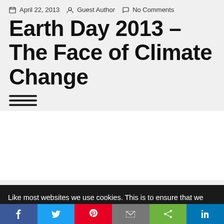April 22, 2013 · Guest Author · No Comments
Earth Day 2013 – The Face of Climate Change
Like most websites we use cookies. This is to ensure that we give you the best experience possible. Continuing to use CABI Blog means you agree to our use of cookies. If you would like to, you can learn more about the cookies we use here.
Facebook, Twitter, Pinterest, Email, Share, LinkedIn